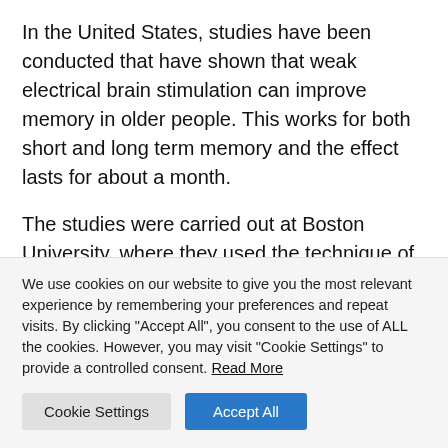In the United States, studies have been conducted that have shown that weak electrical brain stimulation can improve memory in older people. This works for both short and long term memory and the effect lasts for about a month.
The studies were carried out at Boston University, where they used the technique of transcranial alternating current stimulation (tACS). Electrodes
We use cookies on our website to give you the most relevant experience by remembering your preferences and repeat visits. By clicking "Accept All", you consent to the use of ALL the cookies. However, you may visit "Cookie Settings" to provide a controlled consent. Read More